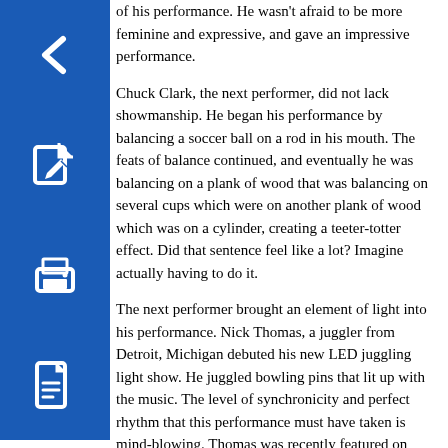of his performance. He wasn't afraid to be more feminine and expressive, and gave an impressive performance.
[Figure (illustration): Blue square button with white left arrow icon (back navigation)]
Chuck Clark, the next performer, did not lack showmanship. He began his performance by balancing a soccer ball on a rod in his mouth. The feats of balance continued, and eventually he was balancing on a plank of wood that was balancing on several cups which were on another plank of wood which was on a cylinder, creating a teeter-totter effect. Did that sentence feel like a lot? Imagine actually having to do it.
[Figure (illustration): Blue square button with white edit/pencil icon]
[Figure (illustration): Blue square button with white printer icon]
The next performer brought an element of light into his performance. Nick Thomas, a juggler from Detroit, Michigan debuted his new LED juggling light show. He juggled bowling pins that lit up with the music. The level of synchronicity and perfect rhythm that this performance must have taken is mind-blowing. Thomas was recently featured on ABC's “The Gong Show.”
[Figure (illustration): Blue square button with white PDF/document icon]
Experience pays off, as was shown by Matan Presberg, who has been juggling since he was six years old. On stage, he juggled an insane number of balls (too many to count) and did several impressive tricks with a lot of precision. It’s no wonder that he was voted number 13 on the list of Top 40 Jugglers of 2016.
Number 20 on the same list was Zak McAllister, who performed after Presberg. McAllister— winner of the People’s Choice at the International Jugglers’ Association’s 70th annual festival— had a